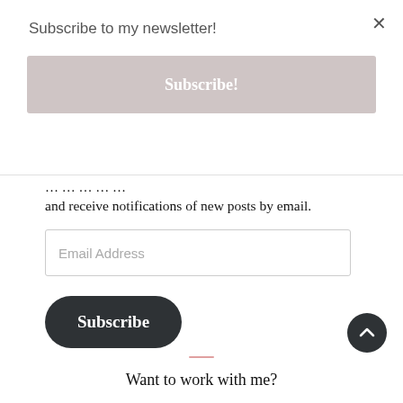Subscribe to my newsletter!
Subscribe!
and receive notifications of new posts by email.
Email Address
Subscribe
Join 31,255 other subscribers
Want to work with me?